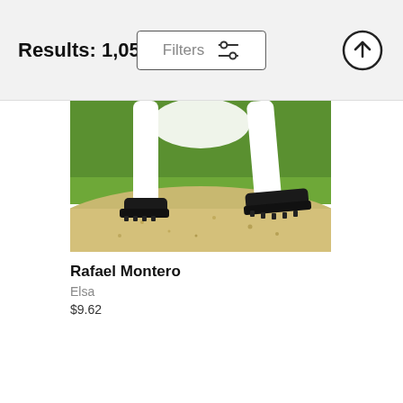Results: 1,057
[Figure (photo): Baseball pitcher's legs mid-delivery on pitching mound with green grass background and sandy mound, white uniform and black cleats visible]
Rafael Montero
Elsa
$9.62